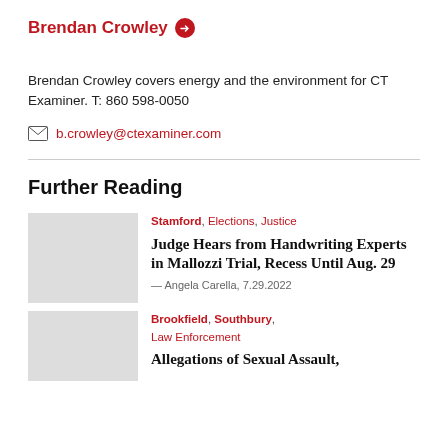Brendan Crowley
Brendan Crowley covers energy and the environment for CT Examiner. T: 860 598-0050
b.crowley@ctexaminer.com
Further Reading
Stamford, Elections, Justice
Judge Hears from Handwriting Experts in Mallozzi Trial, Recess Until Aug. 29
— Angela Carella, 7.29.2022
Brookfield, Southbury, Law Enforcement
Allegations of Sexual Assault,